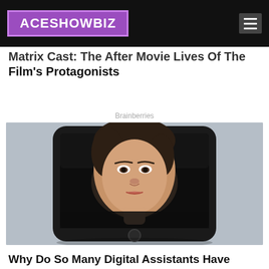ACESHOWBIZ
Matrix Cast: The After Movie Lives Of The Film's Protagonists
Brainberries
[Figure (photo): A woman's face emerging from the screen of a black smartphone placed on a grey background.]
Why Do So Many Digital Assistants Have Feminine Names & Voices?
Brainberries